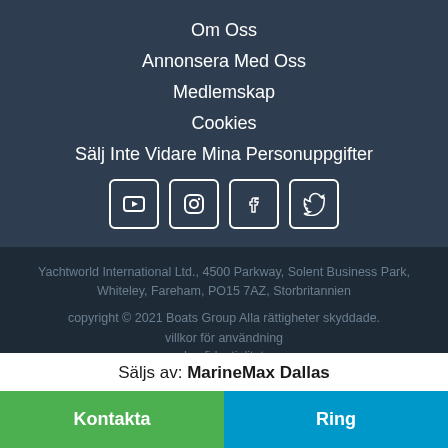Om Oss
Annonsera Med Oss
Medlemskap
Cookies
Sälj Inte Vidare Mina Personuppgifter
[Figure (infographic): Social media icons: YouTube, Instagram, Facebook, Twitter]
Yachtworld International Ltd., 4500 Parkway, Solent Business Park, Whiteley, Fareham, PO15 7AZ, Storbritannien
copyright © 2021 Boats Group Alla rättigheter skyddade.
villkor för användning
konfidentialitet
cookies
Säljs av: MarineMax Dallas
Kontakta
Ring